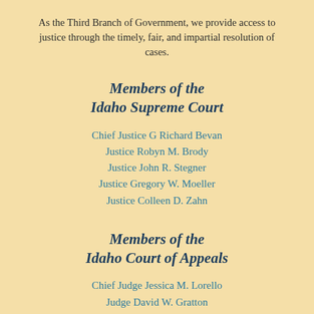As the Third Branch of Government, we provide access to justice through the timely, fair, and impartial resolution of cases.
Members of the Idaho Supreme Court
Chief Justice G Richard Bevan
Justice Robyn M. Brody
Justice John R. Stegner
Justice Gregory W. Moeller
Justice Colleen D. Zahn
Members of the Idaho Court of Appeals
Chief Judge Jessica M. Lorello
Judge David W. Gratton